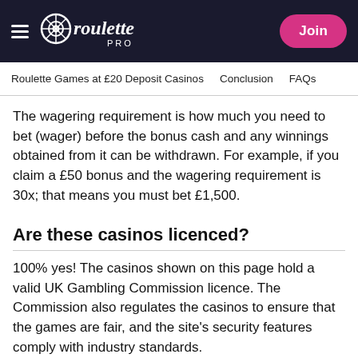Roulette Pro — Join
Roulette Games at £20 Deposit Casinos | Conclusion | FAQs
The wagering requirement is how much you need to bet (wager) before the bonus cash and any winnings obtained from it can be withdrawn. For example, if you claim a £50 bonus and the wagering requirement is 30x; that means you must bet £1,500.
Are these casinos licenced?
100% yes! The casinos shown on this page hold a valid UK Gambling Commission licence. The Commission also regulates the casinos to ensure that the games are fair, and the site's security features comply with industry standards.